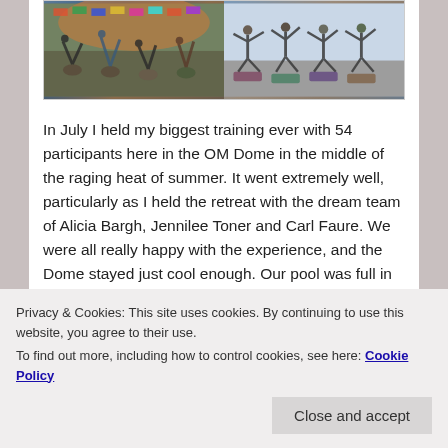[Figure (photo): Two side-by-side photos of a large yoga training session indoors. Left photo shows participants in inversions and forward folds in a colorful domed space. Right photo shows participants in standing poses in a bright space.]
In July I held my biggest training ever with 54 participants here in the OM Dome in the middle of the raging heat of summer. It went extremely well, particularly as I held the retreat with the dream team of Alicia Bargh, Jennilee Toner and Carl Faure. We were all really happy with the experience, and the Dome stayed just cool enough. Our pool was full in all the breaks.
[Figure (photo): Group photo at the bottom of the page, partially visible, showing a large group of people.]
Privacy & Cookies: This site uses cookies. By continuing to use this website, you agree to their use.
To find out more, including how to control cookies, see here: Cookie Policy
[Close and accept]